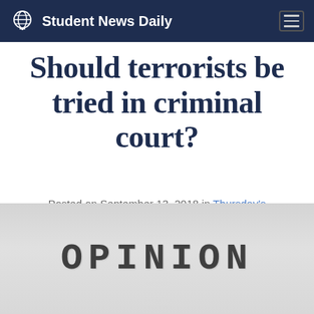Student News Daily
Should terrorists be tried in criminal court?
Posted on September 13, 2018 in Thursday's Editorial
[Figure (other): Typewriter-stamped text reading OPINION on a textured gray background]